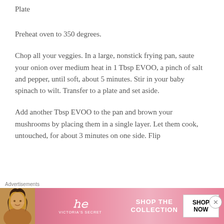Plate
Preheat oven to 350 degrees.
Chop all your veggies. In a large, nonstick frying pan, saute your onion over medium heat in 1 Tbsp EVOO, a pinch of salt and pepper, until soft, about 5 minutes. Stir in your baby spinach to wilt. Transfer to a plate and set aside.
Add another Tbsp EVOO to the pan and brown your mushrooms by placing them in a single layer. Let them cook, untouched, for about 3 minutes on one side. Flip
Advertisements
[Figure (other): Victoria's Secret advertisement banner with a model, VS logo, 'SHOP THE COLLECTION' text, and a 'SHOP NOW' button]